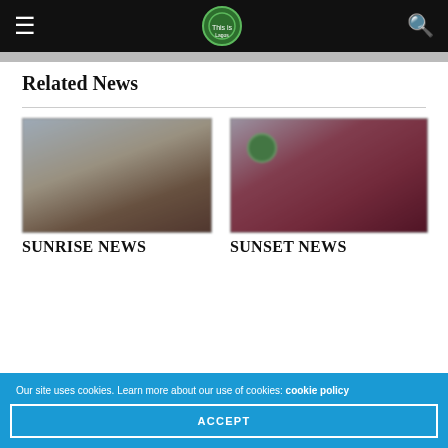Navigation bar with hamburger menu, site logo, and search icon
Related News
[Figure (photo): Blurred thumbnail image for Sunrise News article]
SUNRISE NEWS
[Figure (photo): Blurred thumbnail image for Sunset News article with green circle logo]
SUNSET NEWS
Our site uses cookies. Learn more about our use of cookies: cookie policy
ACCEPT